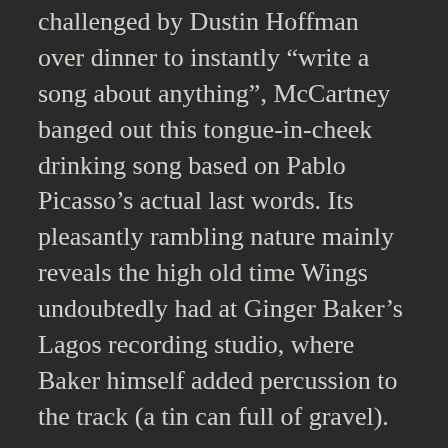challenged by Dustin Hoffman over dinner to instantly “write a song about anything”, McCartney banged out this tongue-in-cheek drinking song based on Pablo Picasso’s actual last words. Its pleasantly rambling nature mainly reveals the high old time Wings undoubtedly had at Ginger Baker’s Lagos recording studio, where Baker himself added percussion to the track (a tin can full of gravel).
20. No More Lonely Nights – Paul McCartney (1984)
McCartney’s feature film Give My Regards To